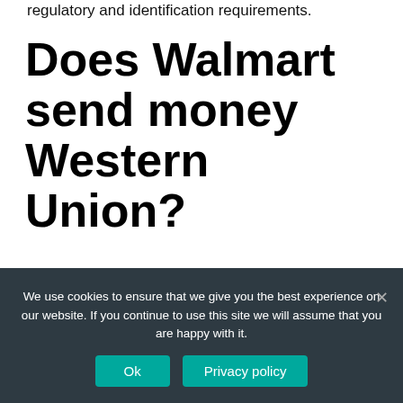regulatory and identification requirements.
Does Walmart send money Western Union?
“Walmart is much more than a place where customers shop. “We’re thrilled to soon begin offering Western Union money transfer services at Walmart locations nationwide
We use cookies to ensure that we give you the best experience on our website. If you continue to use this site we will assume that you are happy with it.